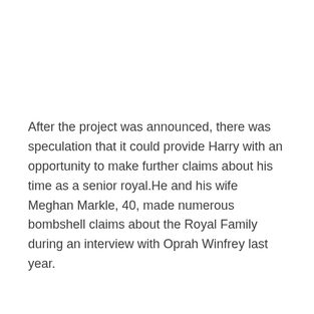After the project was announced, there was speculation that it could provide Harry with an opportunity to make further claims about his time as a senior royal.He and his wife Meghan Markle, 40, made numerous bombshell claims about the Royal Family during an interview with Oprah Winfrey last year.